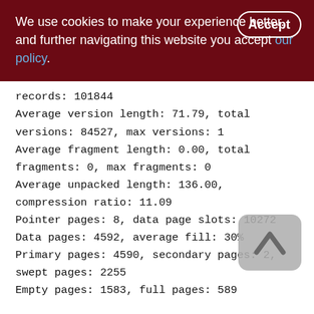We use cookies to make your experience better. By accepting and further navigating this website you accept our policy.
records: 101844
Average version length: 71.79, total versions: 84527, max versions: 1
Average fragment length: 0.00, total fragments: 0, max fragments: 0
Average unpacked length: 136.00, compression ratio: 11.09
Pointer pages: 8, data page slots: 10272
Data pages: 4592, average fill: 30%
Primary pages: 4590, secondary pages: 2, swept pages: 2255
Empty pages: 1583, full pages: 589